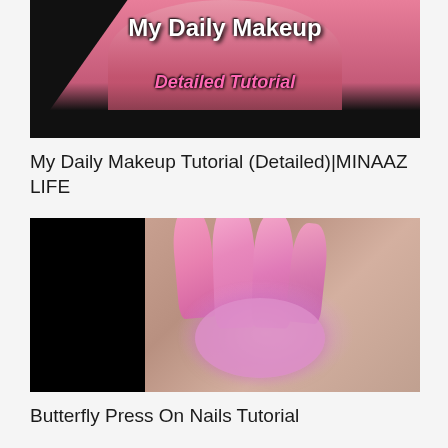[Figure (photo): Video thumbnail with black background showing text 'My Daily Makeup' and 'Detailed Tutorial' in pink italic font, with a person in a pink top visible]
My Daily Makeup Tutorial (Detailed)|MINAAZ LIFE
[Figure (photo): Video thumbnail showing pink glittery press-on nails with butterfly decoration and rhinestones, black bars on the left side]
Butterfly Press On Nails Tutorial